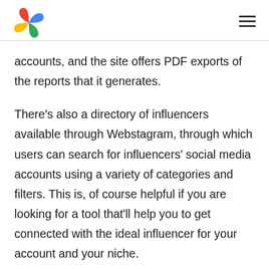accounts, and the site offers PDF exports of the reports that it generates.
There’s also a directory of influencers available through Webstagram, through which users can search for influencers’ social media accounts using a variety of categories and filters. This is, of course helpful if you are looking for a tool that’ll help you to get connected with the ideal influencer for your account and your niche.
Users can search for Instagram accounts through Webstagram without an account in a trail setting, but